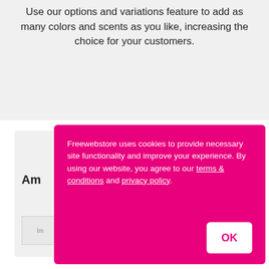Use our options and variations feature to add as many colors and scents as you like, increasing the choice for your customers.
Freewebstore uses cookies to provide necessary site functionality and improve your experience. By using our website, you agree to our terms & conditions and privacy policy.